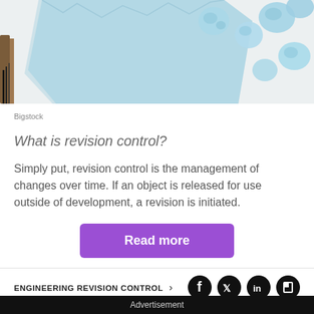[Figure (photo): Photo of crumpled light blue paper balls and a torn light blue paper sheet on a white surface, with pens visible at the left edge. Image credit: Bigstock.]
Bigstock
What is revision control?
Simply put, revision control is the management of changes over time. If an object is released for use outside of development, a revision is initiated.
Read more
ENGINEERING REVISION CONTROL
Advertisement